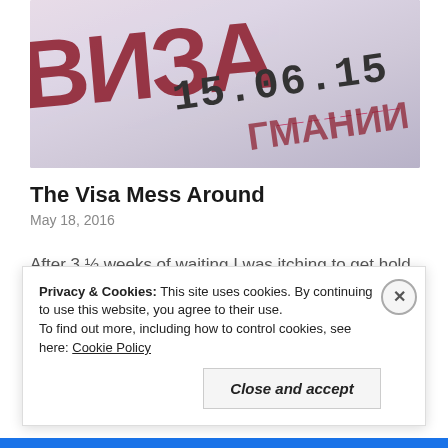[Figure (photo): Close-up photo of a Russian/Kyrgyz visa document showing Cyrillic text 'ВИЗА' in dark red, date '15.06.15', and partial Cyrillic text 'ГМАНИИ' in dark red at bottom right]
The Visa Mess Around
May 18, 2016
After 3 ½ weeks of waiting I was itching to get hold of my Kyrgyz visa so that I could apply for my Russian transit visa and I met Cholpon (who was helping me with it)
Privacy & Cookies: This site uses cookies. By continuing to use this website, you agree to their use.
To find out more, including how to control cookies, see here: Cookie Policy
Close and accept